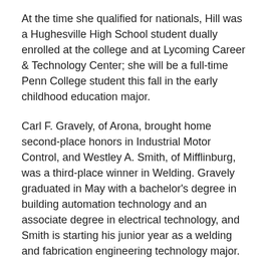At the time she qualified for nationals, Hill was a Hughesville High School student dually enrolled at the college and at Lycoming Career & Technology Center; she will be a full-time Penn College student this fall in the early childhood education major.
Carl F. Gravely, of Arona, brought home second-place honors in Industrial Motor Control, and Westley A. Smith, of Mifflinburg, was a third-place winner in Welding. Gravely graduated in May with a bachelor's degree in building automation technology and an associate degree in electrical technology, and Smith is starting his junior year as a welding and fabrication engineering technology major.
Other student competitors who advanced to nationals by winning gold medals in April's state competition in Hershey were Sarah J. Dries, of Milton, in the Food and Beverage category; and Matthew R. Ernst, Hanover, in Collision Repair Technology. Ernst earned an associate degree in collision repair technology in May; Dries is a culinary arts and